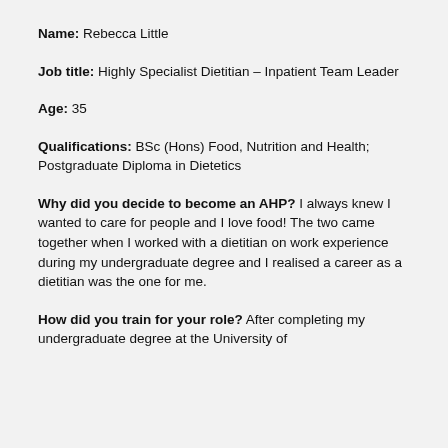Name: Rebecca Little
Job title: Highly Specialist Dietitian – Inpatient Team Leader
Age: 35
Qualifications: BSc (Hons) Food, Nutrition and Health; Postgraduate Diploma in Dietetics
Why did you decide to become an AHP? I always knew I wanted to care for people and I love food! The two came together when I worked with a dietitian on work experience during my undergraduate degree and I realised a career as a dietitian was the one for me.
How did you train for your role? After completing my undergraduate degree at the University of